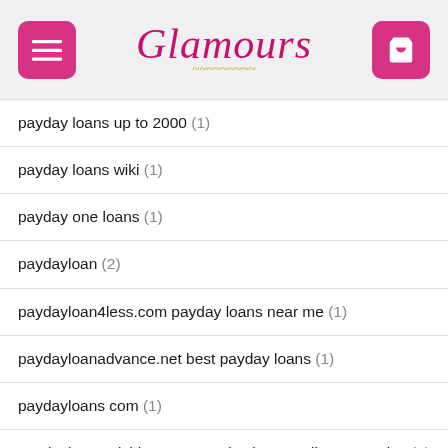Glamours
payday loans up to 2000 (1)
payday loans wiki (1)
payday one loans (1)
paydayloan (2)
paydayloan4less.com payday loans near me (1)
paydayloanadvance.net best payday loans (1)
paydayloans com (1)
paydayloansmichigan.org payday loans online same day (1)
paydayloansonline (1)
paydayloantoday (1)